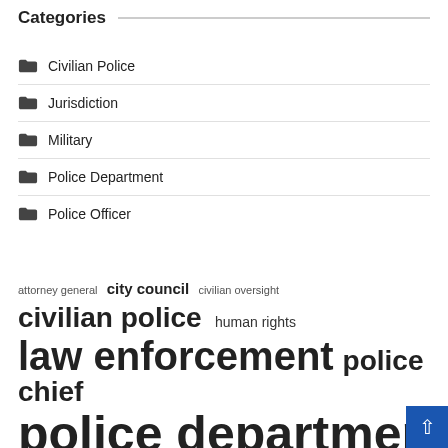Categories
Civilian Police
Jurisdiction
Military
Police Department
Police Officer
attorney general  city council  civilian oversight  civilian police  human rights  law enforcement  police chief  police department  police officers  police review  police service  public safety  review board